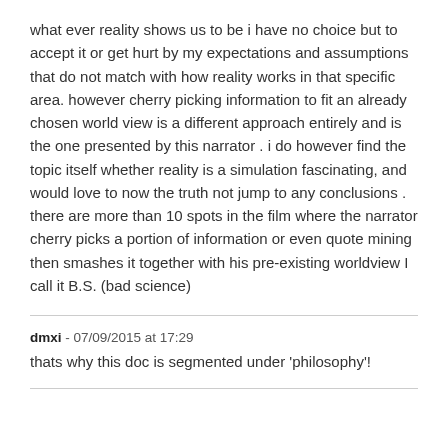what ever reality shows us to be i have no choice but to accept it or get hurt by my expectations and assumptions that do not match with how reality works in that specific area. however cherry picking information to fit an already chosen world view is a different approach entirely and is the one presented by this narrator . i do however find the topic itself whether reality is a simulation fascinating, and would love to now the truth not jump to any conclusions . there are more than 10 spots in the film where the narrator cherry picks a portion of information or even quote mining then smashes it together with his pre-existing worldview I call it B.S. (bad science)
dmxi - 07/09/2015 at 17:29
thats why this doc is segmented under 'philosophy'!